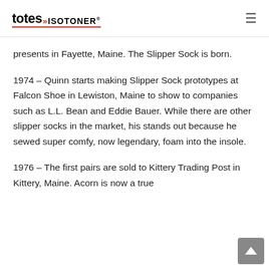totes ISOTONER
presents in Fayette, Maine. The Slipper Sock is born.
1974 – Quinn starts making Slipper Sock prototypes at Falcon Shoe in Lewiston, Maine to show to companies such as L.L. Bean and Eddie Bauer. While there are other slipper socks in the market, his stands out because he sewed super comfy, now legendary, foam into the insole.
1976 – The first pairs are sold to Kittery Trading Post in Kittery, Maine. Acorn is now a true